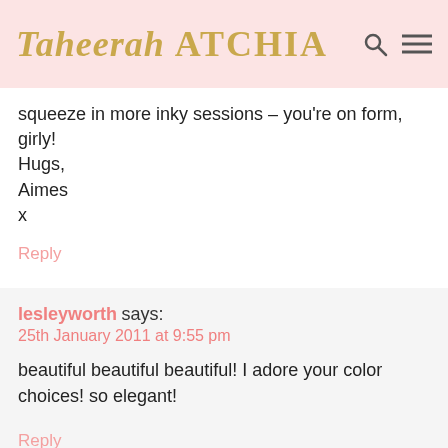Taheerah ATCHIA
squeeze in more inky sessions – you're on form, girly!
Hugs,
Aimes
x
Reply
lesleyworth says:
25th January 2011 at 9:55 pm
beautiful beautiful beautiful! I adore your color choices! so elegant!
Reply
Karen says: